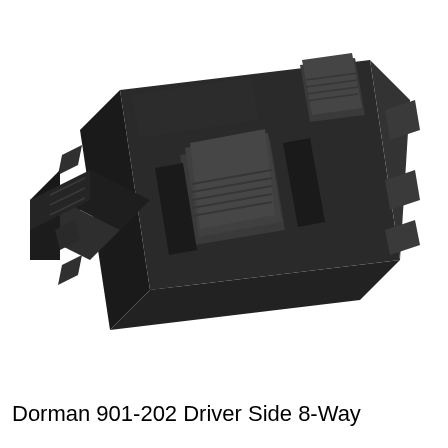[Figure (photo): A black plastic Dorman 901-202 driver side 8-way power seat switch module with two rocker/toggle buttons on top and a rectangular electrical connector on the left side, shown on a white background in a perspective/isometric view.]
Dorman 901-202 Driver Side 8-Way